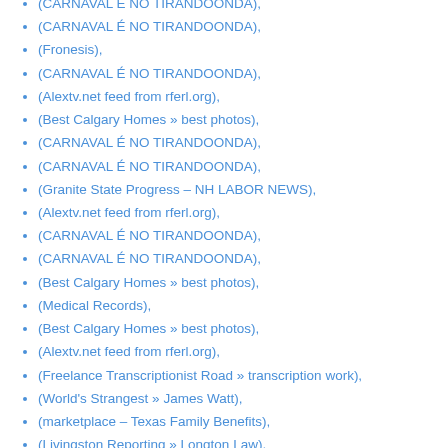(CARNAVAL É NO TIRANDOONDA),
(CARNAVAL É NO TIRANDOONDA),
(Fronesis),
(CARNAVAL É NO TIRANDOONDA),
(Alextv.net feed from rferl.org),
(Best Calgary Homes » best photos),
(CARNAVAL É NO TIRANDOONDA),
(CARNAVAL É NO TIRANDOONDA),
(Granite State Progress – NH LABOR NEWS),
(Alextv.net feed from rferl.org),
(CARNAVAL É NO TIRANDOONDA),
(CARNAVAL É NO TIRANDOONDA),
(Best Calgary Homes » best photos),
(Medical Records),
(Best Calgary Homes » best photos),
(Alextv.net feed from rferl.org),
(Freelance Transcriptionist Road » transcription work),
(World's Strangest » James Watt),
(marketplace – Texas Family Benefits),
(Livingston Reporting » Longton Law),